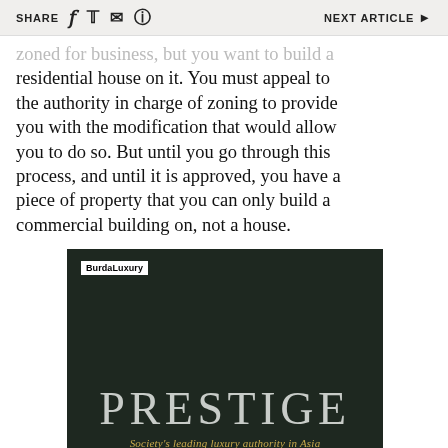SHARE  [facebook] [twitter] [email] [whatsapp]   NEXT ARTICLE ▶
...zoned for business, but you want to build a residential house on it. You must appeal to the authority in charge of zoning to provide you with the modification that would allow you to do so. But until you go through this process, and until it is approved, you have a piece of property that you can only build a commercial building on, not a house.
[Figure (advertisement): Dark green/black magazine advertisement for Prestige magazine by BurdaLuxury. Shows the PRESTIGE title in large light serif letters with the tagline 'Society's leading luxury authority in Asia' in gold italic text below. BurdaLuxury logo in white box at top left.]